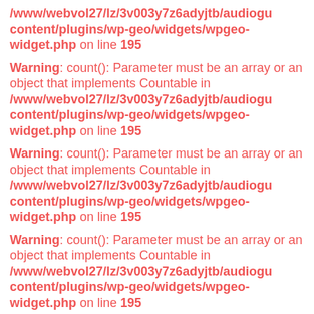/www/webvol27/lz/3v003y7z6adyjtb/audiogu content/plugins/wp-geo/widgets/wpgeo-widget.php on line 195
Warning: count(): Parameter must be an array or an object that implements Countable in /www/webvol27/lz/3v003y7z6adyjtb/audiogucontent/plugins/wp-geo/widgets/wpgeo-widget.php on line 195
Warning: count(): Parameter must be an array or an object that implements Countable in /www/webvol27/lz/3v003y7z6adyjtb/audiogucontent/plugins/wp-geo/widgets/wpgeo-widget.php on line 195
Warning: count(): Parameter must be an array or an object that implements Countable in /www/webvol27/lz/3v003y7z6adyjtb/audiogucontent/plugins/wp-geo/widgets/wpgeo-widget.php on line 195